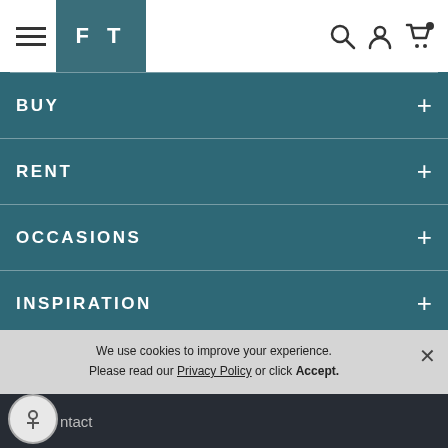FT navigation header with hamburger menu, logo, search, account, and cart icons
BUY +
RENT +
OCCASIONS +
INSPIRATION +
We use cookies to improve your experience. Please read our Privacy Policy or click Accept.
Contact